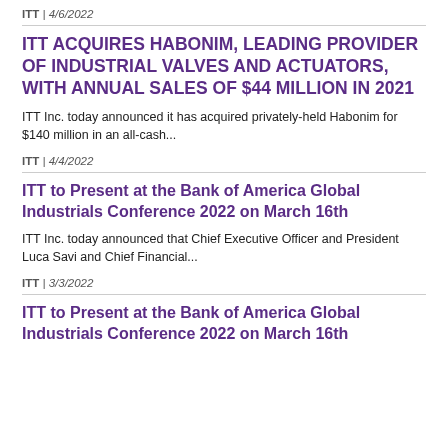ITT | 4/6/2022
ITT ACQUIRES HABONIM, LEADING PROVIDER OF INDUSTRIAL VALVES AND ACTUATORS, WITH ANNUAL SALES OF $44 MILLION IN 2021
ITT Inc. today announced it has acquired privately-held Habonim for $140 million in an all-cash...
ITT | 4/4/2022
ITT to Present at the Bank of America Global Industrials Conference 2022 on March 16th
ITT Inc. today announced that Chief Executive Officer and President Luca Savi and Chief Financial...
ITT | 3/3/2022
ITT to Present at the Bank of America Global Industrials Conference 2022 on March 16th